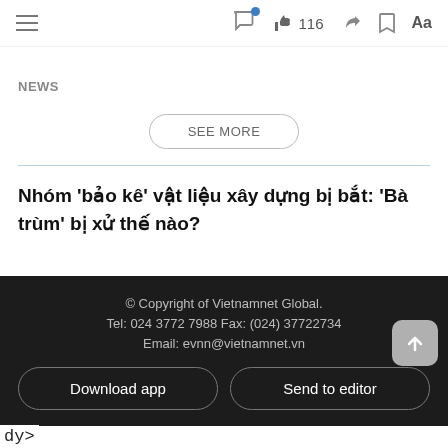≡   💬  👍 116  ↪  🔖  Aa
NEWS
SEE MORE
Nhóm 'bảo kê' vật liệu xây dựng bị bắt: 'Bà trùm' bị xử thế nào?
© Copyright of Vietnamnet Global.
Tel: 024 3772 7988 Fax: (024) 37722734
Email: evnn@vietnamnet.vn
Download app
Send to editor
dy>